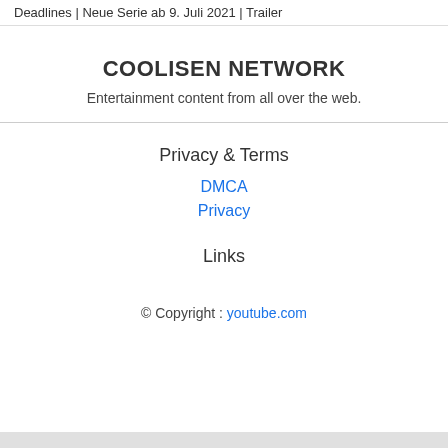Deadlines | Neue Serie ab 9. Juli 2021 | Trailer
COOLISEN NETWORK
Entertainment content from all over the web.
Privacy & Terms
DMCA
Privacy
Links
© Copyright : youtube.com